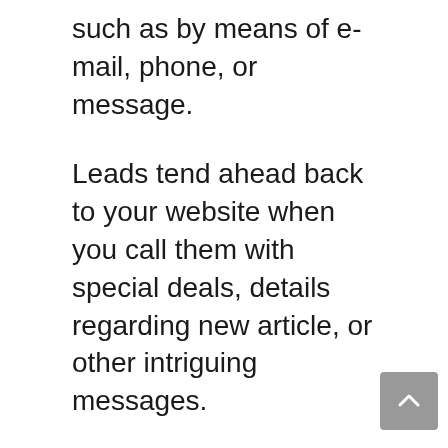such as by means of e-mail, phone, or message.
Leads tend ahead back to your website when you call them with special deals, details regarding new article, or other intriguing messages.
The sales funnel narrows as visitors relocate through it. This is partly because you'll have more potential customers on top of the funnel than buyers near the bottom, however additionally, because your messaging requires to come to be significantly targeted.